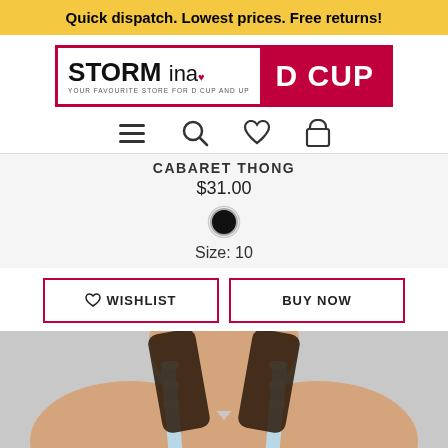Quick dispatch. Lowest prices. Free returns!
[Figure (logo): Storm in a D Cup logo — black text on white left half, white text on pink/red right half, with tagline 'YOUR FAVOURITE STORE FOR D CUP AND UP']
[Figure (infographic): Navigation icons: hamburger menu, search magnifier, heart/wishlist, shopping bag]
CABARET THONG
$31.00
[Figure (other): Black circular color swatch]
Size: 10
♡ WISHLIST   BUY NOW
[Figure (photo): Woman wearing a light blue bra/lingerie top, photographed from the neck/collarbone area, dark hair, light grey background]